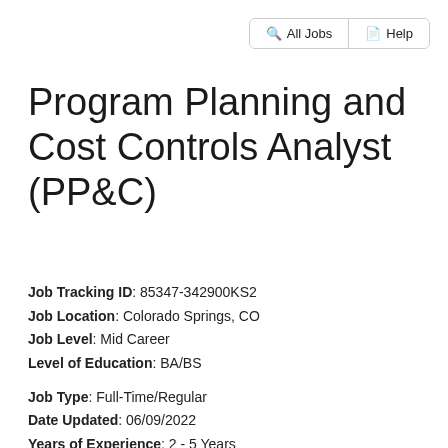All Jobs | Help
Program Planning and Cost Controls Analyst (PP&C)
Job Tracking ID: 85347-342900KS2
Job Location: Colorado Springs, CO
Job Level: Mid Career
Level of Education: BA/BS
Job Type: Full-Time/Regular
Date Updated: 06/09/2022
Years of Experience: 2 - 5 Years
Compensation: $50,000.00 To $0,000.00